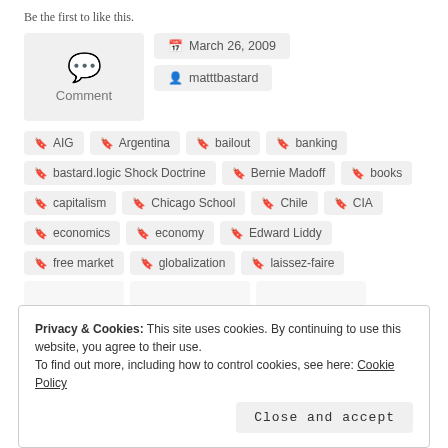Be the first to like this.
Comment
March 26, 2009
matttbastard
AIG
Argentina
bailout
banking
bastard.logic Shock Doctrine
Bernie Madoff
books
capitalism
Chicago School
Chile
CIA
economics
economy
Edward Liddy
free market
globalization
laissez-faire
Privacy & Cookies: This site uses cookies. By continuing to use this website, you agree to their use. To find out more, including how to control cookies, see here: Cookie Policy
Close and accept